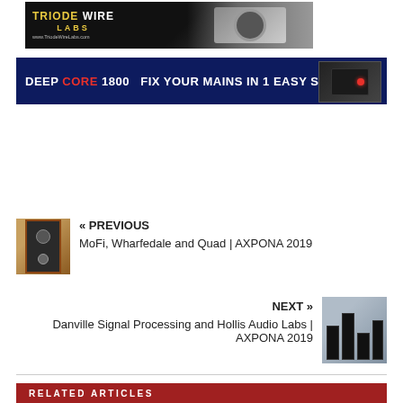[Figure (photo): Triode Wire Labs advertisement banner with logo and audio cable/connector image on dark background, URL www.TriodeWireLabs.com]
[Figure (photo): Deep Core 1800 advertisement banner: 'DEEP CORE 1800  FIX YOUR MAINS IN 1 EASY STEP' on dark blue background with device image on right]
[Figure (photo): Previous article thumbnail: speaker image with wood frame]
« PREVIOUS
MoFi, Wharfedale and Quad | AXPONA 2019
NEXT »
Danville Signal Processing and Hollis Audio Labs | AXPONA 2019
[Figure (photo): Next article thumbnail: black speakers stacked on stands against grey-blue curtain background]
RELATED ARTICLES